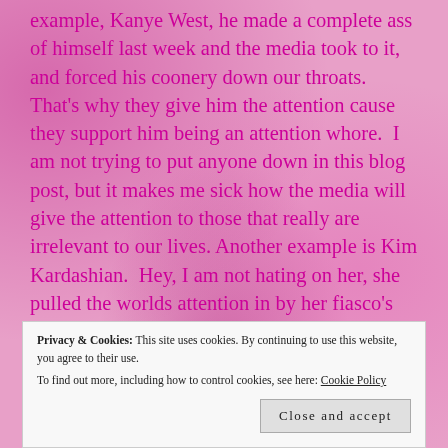example, Kanye West, he made a complete ass of himself last week and the media took to it, and forced his coonery down our throats.  That's why they give him the attention cause they support him being an attention whore.  I am not trying to put anyone down in this blog post, but it makes me sick how the media will give the attention to those that really are irrelevant to our lives. Another example is Kim Kardashian.  Hey, I am not hating on her, she pulled the worlds attention in by her fiasco's and attention whore ways and it paid off for herself and family.  So you think, Kim and Kanye both will do whatever they deem fit to keep media attention them even if it is
Privacy & Cookies: This site uses cookies. By continuing to use this website, you agree to their use.
To find out more, including how to control cookies, see here: Cookie Policy
Close and accept